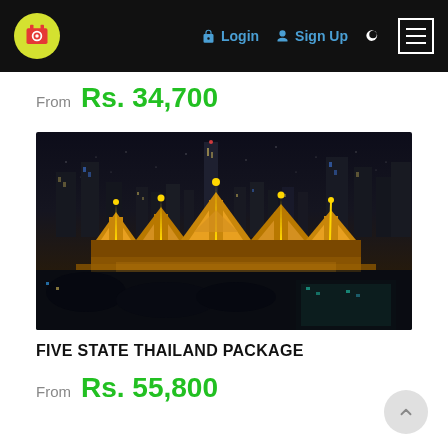Navigation bar with logo, Login, Sign Up, search, and menu
From Rs. 34,700
[Figure (photo): Night aerial view of Bangkok skyline showing illuminated Grand Palace temples in foreground with modern skyscrapers behind, against dark sky]
FIVE STATE THAILAND PACKAGE
From Rs. 55,800